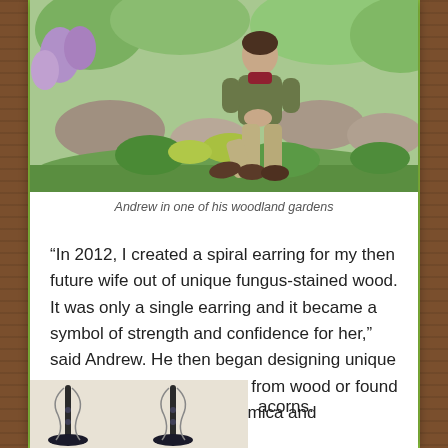[Figure (photo): Andrew sitting outdoors in a lush woodland garden with rocks, moss, ferns, and purple wildflowers. He is wearing a green jacket, khaki pants, and brown boots.]
Andrew in one of his woodland gardens
“In 2012, I created a spiral earring for my then future wife out of unique fungus-stained wood. It was only a single earring and it became a symbol of strength and confidence for her,” said Andrew. He then began designing unique earrings for others, mostly from wood or found objects in nature, such as mica and acorns.
[Figure (photo): Two handmade earrings displayed on a light beige background. The earrings appear to be made of wood or natural materials with delicate wire work.]